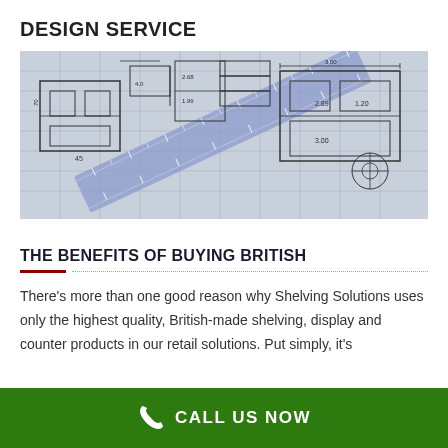DESIGN SERVICE
[Figure (photo): Blueprint/architectural drawing plans with a ruler overlay, showing floor plan layouts and technical measurements in blue and grey tones.]
THE BENEFITS OF BUYING BRITISH
There's more than one good reason why Shelving Solutions uses only the highest quality, British-made shelving, display and counter products in our retail solutions. Put simply, it's
CALL US NOW